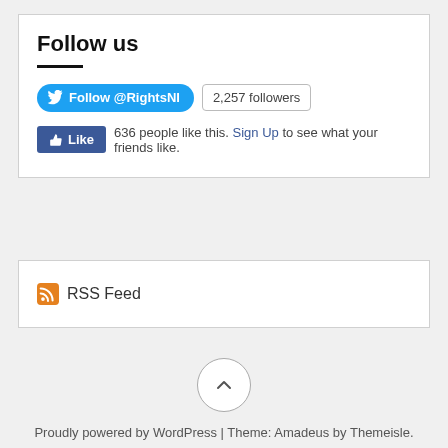Follow us
[Figure (infographic): Twitter Follow @RightsNI button with 2,257 followers badge and Facebook Like button with text '636 people like this. Sign Up to see what your friends like.']
[Figure (infographic): RSS Feed icon and link]
[Figure (other): Scroll to top button — circle with upward chevron]
Proudly powered by WordPress | Theme: Amadeus by Themeisle.